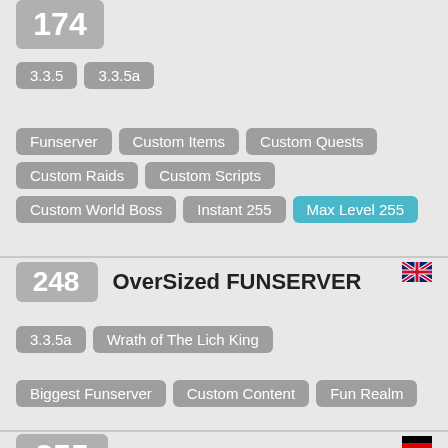174
3.3.5
3.3.5a
Funserver
Custom Items
Custom Quests
Custom Raids
Custom Scripts
Custom World Boss
Instant 255
Max Level 255
248
OverSized FUNSERVER
3.3.5a
Wrath of The Lich King
Biggest Funserver
Custom Content
Fun Realm
Max Level 255
255
OCEANIC-WOW